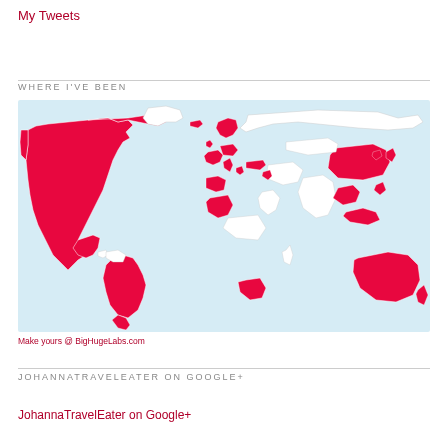My Tweets
WHERE I'VE BEEN
[Figure (map): World map with visited countries highlighted in pink/crimson, including USA, Canada, parts of Europe, China, Southeast Asia, Brazil, Argentina, South Africa, Australia, and others. Light blue background.]
Make yours @ BigHugeLabs.com
JOHANNATRAVELEATER ON GOOGLE+
JohannaTravelEater on Google+